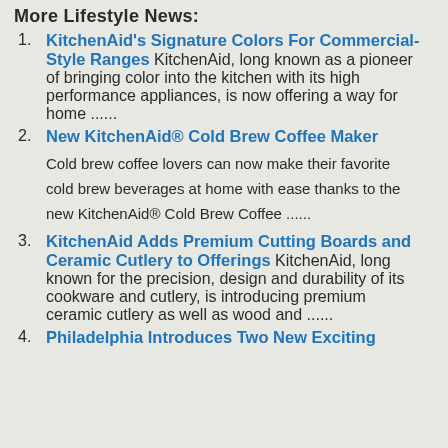More Lifestyle News:
KitchenAid's Signature Colors For Commercial-Style Ranges KitchenAid, long known as a pioneer of bringing color into the kitchen with its high performance appliances, is now offering a way for home ......
New KitchenAid® Cold Brew Coffee Maker Cold brew coffee lovers can now make their favorite cold brew beverages at home with ease thanks to the new KitchenAid® Cold Brew Coffee ......
KitchenAid Adds Premium Cutting Boards and Ceramic Cutlery to Offerings KitchenAid, long known for the precision, design and durability of its cookware and cutlery, is introducing premium ceramic cutlery as well as wood and ......
Philadelphia Introduces Two New Exciting